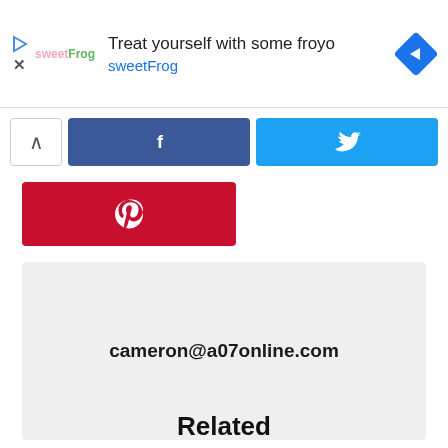[Figure (screenshot): Advertisement banner for sweetFrog frozen yogurt. Shows sweetFrog logo on left, text 'Treat yourself with some froyo' and 'sweetFrog' in blue, with a blue diamond navigation arrow icon on right. Play and X icons on far left.]
[Figure (screenshot): Social sharing buttons row: up/collapse arrow button, Facebook share button (blue), Twitter share button (cyan/blue)]
[Figure (screenshot): Pinterest share button in red with Pinterest P logo]
[Figure (screenshot): Gray box containing email address cameron@a07online.com in bold]
cameron@a07online.com
Related